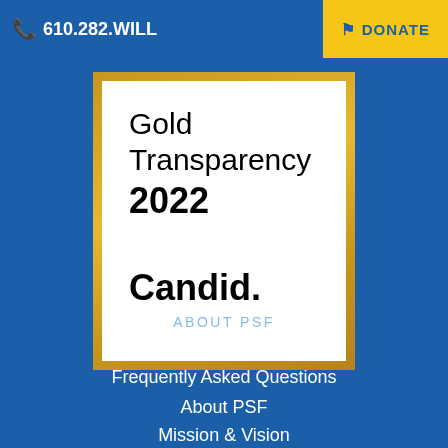📞 610.282.WILL | DONATE
[Figure (other): Gold Transparency 2022 Candid badge — white square with gold border containing text 'Gold Transparency 2022' and 'Candid.']
ABOUT PSF
Contact Us
Frequently Asked Questions
About PSF
Mission & Vision